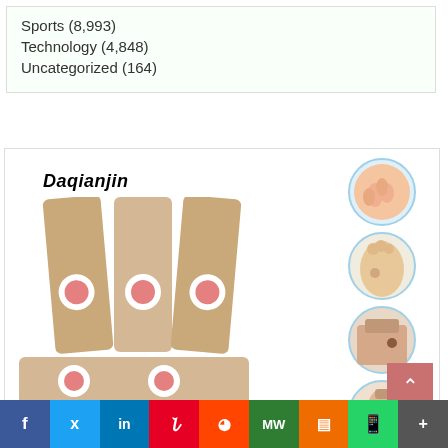Sports (8,993)
Technology (4,848)
Uncategorized (164)
[Figure (photo): Product photo of Daqianjin brand medical foot care patches, showing several rectangular beige-colored patches with pink circular centers, alongside four circular inset images showing application areas: toes, foot sole, back with mole, and neck/back with mole.]
30pcs Foot Care Sticker Medical Patch
[Figure (other): Social sharing bar with buttons: Facebook, Twitter, LinkedIn, Pinterest, Reddit, MeWe, Mix, WhatsApp, More]